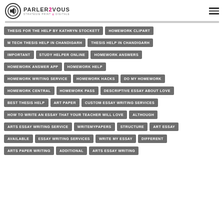[Figure (logo): Parler2Vous logo with speaker icon and tagline STRATEGIE PRINT & DIGITALE]
THESIS FOR THE HELP BY KATHRYN STOCKETT
HOMEWORK CLIPART
M TECH THESIS HELP IN CHANDIGARH
THESIS HELP IN CHANDIGARH
IMPORTANT
STUDY HELPER ONLINE
HOMEWORK ANSWERS
HOMEWORK ANSWER APP
HOMEWORK HELP
HOMEWORK WRITING SERVICE
HOMEWORK HACKS
DO MY HOMEWORK
HOMEWORK CENTRAL
HOMEWORK PASS
DESCRIPTIVE ESSAY ABOUT LOVE
BEST THESIS HELP
ART PAPER
CUSTOM ESSAY WRITING SERVICES
HOW TO WRITE AN ESSAY THAT YOUR TEACHER WILL LOVE
ALTHOUGH
ARTS ESSAY WRITING SERVICE
WRITEMYPAPERS
STRUCTURE
ART ESSAY
AVAILABLE
ESSAY WRITING SERVICES
WRITE MY ESSAY
DIFFERENT
ARTS PAPER WRITING
ADDITIONAL
ARTS ESSAY WRITING